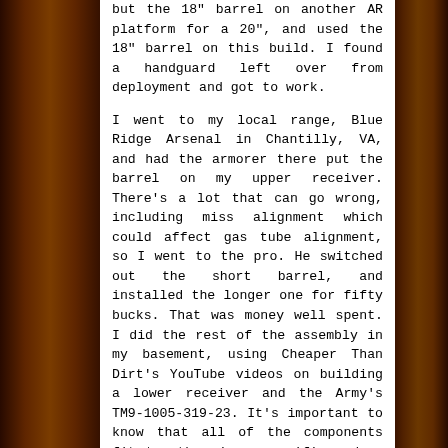but the 18" barrel on another AR platform for a 20", and used the 18" barrel on this build. I found a handguard left over from deployment and got to work.

I went to my local range, Blue Ridge Arsenal in Chantilly, VA, and had the armorer there put the barrel on my upper receiver. There's a lot that can go wrong, including miss alignment which could affect gas tube alignment, so I went to the pro. He switched out the short barrel, and installed the longer one for fifty bucks. That was money well spent. I did the rest of the assembly in my basement, using Cheaper Than Dirt's YouTube videos on building a lower receiver and the Army's TM9-1005-319-23. It's important to know that all of the components fit together in a specific order. Anyone who has ever tried to repair their car knows what I'm talking about. Step-by-step instructions are essential to success. Watch the video and read the instructions a couple of times for real success. With the lower complete, I replaced the fixed front site post with a gas block with picatinny rails and attached the front and rear sites. I snapped top and bottom together,